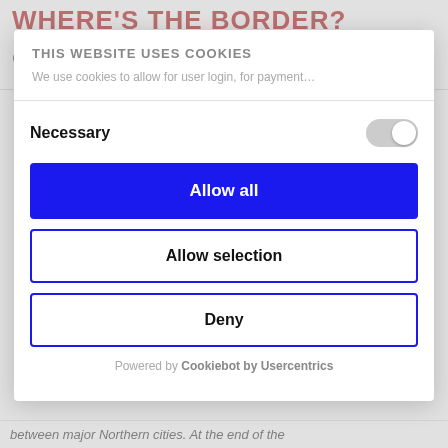WHERE'S THE BORDER?
[Figure (logo): Dark oval logo/badge icon]
THIS WEBSITE USES COOKIES
We use cookies to allow for user login, for payment…
Necessary
Allow all
Allow selection
Deny
Powered by Cookiebot by Usercentrics
between major Northern cities. At the end of the